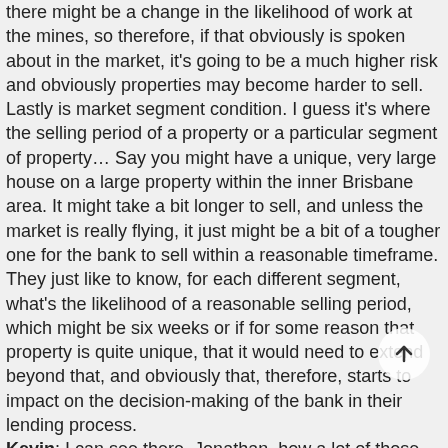there might be a change in the likelihood of work at the mines, so therefore, if that obviously is spoken about in the market, it's going to be a much higher risk and obviously properties may become harder to sell.
Lastly is market segment condition. I guess it's where the selling period of a property or a particular segment of property… Say you might have a unique, very large house on a large property within the inner Brisbane area. It might take a bit longer to sell, and unless the market is really flying, it just might be a bit of a tougher one for the bank to sell within a reasonable timeframe.
They just like to know, for each different segment, what's the likelihood of a reasonable selling period, which might be six weeks or if for some reason that property is quite unique, that it would need to extend beyond that, and obviously that, therefore, starts to impact on the decision-making of the bank in their lending process.
Kevin:  I can see there, Jonathan, how a lot of those issues could be fairly subjective, I guess, from the valuer's point of view and would, I imagine, therefore heavily influence the bank's lending decisions.